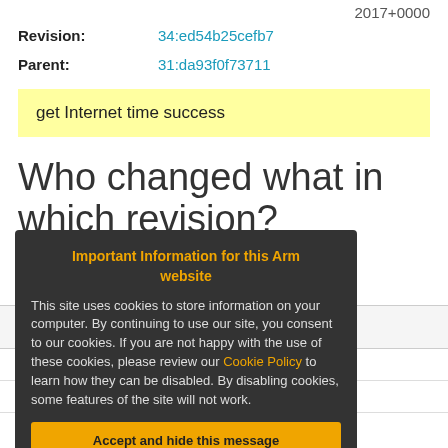2017+0000
Revision: 34:ed54b25cefb7
Parent: 31:da93f0f73711
get Internet time success
Who changed what in which revision?
| Line number | New content |
| --- | --- |
| 5226 | 1 | /* Copyright |
| 5226 | 2 | * |
Important Information for this Arm website
This site uses cookies to store information on your computer. By continuing to use our site, you consent to our cookies. If you are not happy with the use of these cookies, please review our Cookie Policy to learn how they can be disabled. By disabling cookies, some features of the site will not work.
Accept and hide this message